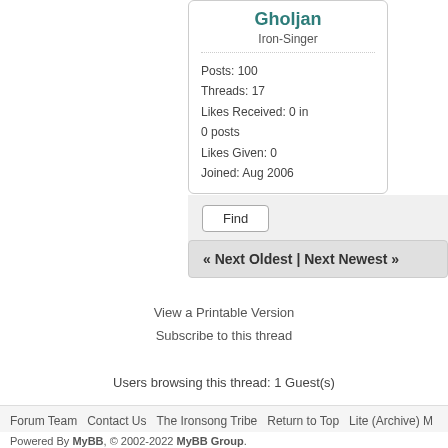Gholjan
Iron-Singer
Posts: 100
Threads: 17
Likes Received: 0 in 0 posts
Likes Given: 0
Joined: Aug 2006
Find
« Next Oldest | Next Newest »
View a Printable Version
Subscribe to this thread
Users browsing this thread: 1 Guest(s)
Forum Team   Contact Us   The Ironsong Tribe   Return to Top   Lite (Archive) M
Powered By MyBB, © 2002-2022 MyBB Group.